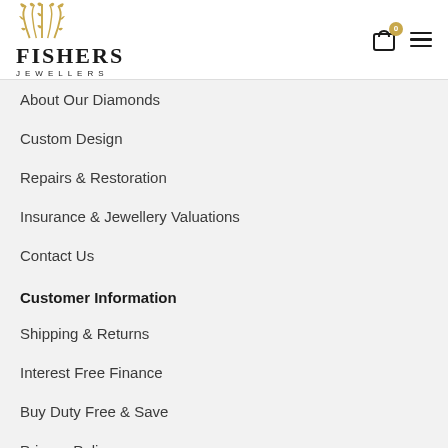[Figure (logo): Fishers Jewellers logo with golden wheat/art-deco icon above bold serif FISHERS text and smaller JEWELLERS subtitle]
About Our Diamonds
Custom Design
Repairs & Restoration
Insurance & Jewellery Valuations
Contact Us
Customer Information
Shipping & Returns
Interest Free Finance
Buy Duty Free & Save
Privacy Policy